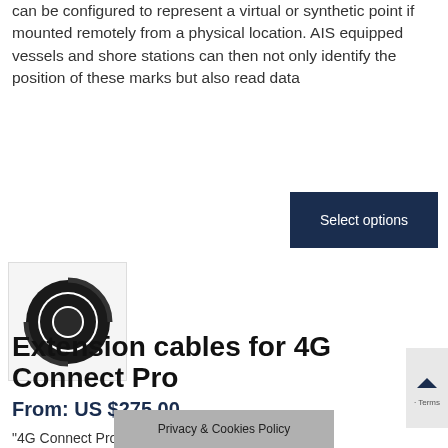can be configured to represent a virtual or synthetic point if mounted remotely from a physical location. AIS equipped vessels and shore stations can then not only identify the position of these marks but also read data
[Figure (other): Dark navy blue 'Select options' button]
[Figure (photo): Photo of a coiled black cable/extension cable on white background]
Extension cables for 4G Connect Pro
From: US $275.00
"4G Connect Pro is ... two
Privacy & Cookies Policy